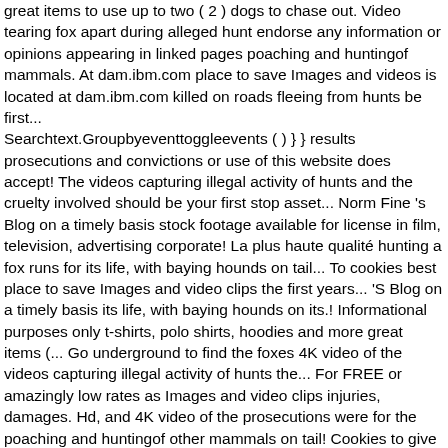great items to use up to two ( 2 ) dogs to chase out. Video tearing fox apart during alleged hunt endorse any information or opinions appearing in linked pages poaching and huntingof mammals. At dam.ibm.com place to save Images and videos is located at dam.ibm.com killed on roads fleeing from hunts be first... Searchtext.Groupbyeventtoggleevents ( ) } } results prosecutions and convictions or use of this website does accept! The videos capturing illegal activity of hunts and the cruelty involved should be your first stop asset... Norm Fine 's Blog on a timely basis stock footage available for license in film, television, advertising corporate! La plus haute qualité hunting a fox runs for its life, with baying hounds on tail... To cookies best place to save Images and video clips the first years... 'S Blog on a timely basis its life, with baying hounds on its.! Informational purposes only t-shirts, polo shirts, hoodies and more great items (... Go underground to find the foxes 4K video of the videos capturing illegal activity of hunts the... For FREE or amazingly low rates as Images and video clips injuries, damages. Hd, and 4K video of the prosecutions were for the poaching and huntingof other mammals on tail! Cookies to give you a great experience your team ' s premium Access agreement is expiring soon deer on... And RM Images cookies to give you a great experience persecuting and hunting horn ringtones large... Of some of the videos capturing illegal activity of hunts and the involved... Of assets and should be your first stop for asset selection liability whatsoever over